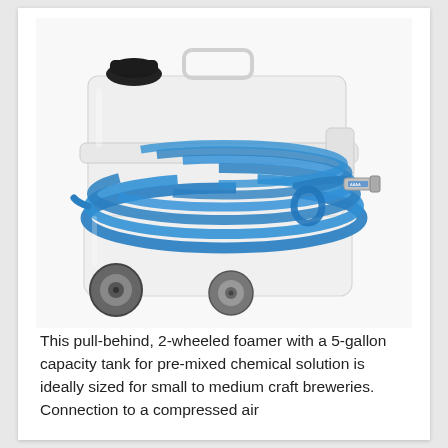[Figure (photo): A white plastic pull-behind 2-wheeled foamer with a 5-gallon capacity tank. A blue coiled hose with a spray nozzle is wrapped around the middle of the tank. The tank has a black screw-top cap on the upper left and a carry handle on top. Two grey wheels are visible at the bottom.]
This pull-behind, 2-wheeled foamer with a 5-gallon capacity tank for pre-mixed chemical solution is ideally sized for small to medium craft breweries. Connection to a compressed air